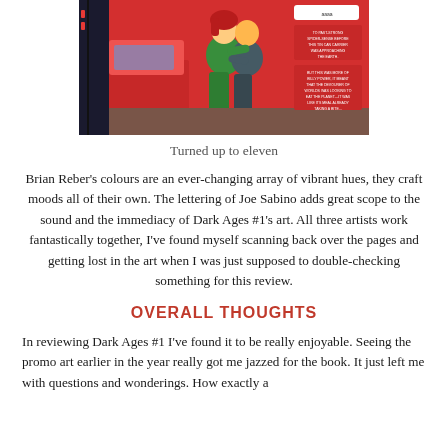[Figure (illustration): Comic book panel showing characters in a dramatic scene with colorful artwork, speech bubbles visible in top right area]
Turned up to eleven
Brian Reber's colours are an ever-changing array of vibrant hues, they craft moods all of their own. The lettering of Joe Sabino adds great scope to the sound and the immediacy of Dark Ages #1's art. All three artists work fantastically together, I've found myself scanning back over the pages and getting lost in the art when I was just supposed to double-checking something for this review.
OVERALL THOUGHTS
In reviewing Dark Ages #1 I've found it to be really enjoyable. Seeing the promo art earlier in the year really got me jazzed for the book. It just left me with questions and wonderings. How exactly a